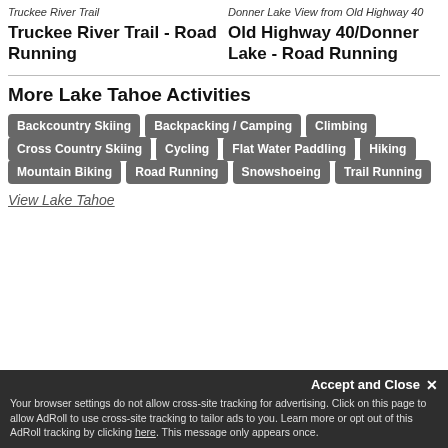[Figure (photo): Truckee River Trail photo placeholder]
Truckee River Trail - Road Running
[Figure (photo): Donner Lake View from Old Highway 40 photo placeholder]
Old Highway 40/Donner Lake - Road Running
More Lake Tahoe Activities
Backcountry Skiing
Backpacking / Camping
Climbing
Cross Country Skiing
Cycling
Flat Water Paddling
Hiking
Mountain Biking
Road Running
Snowshoeing
Trail Running
View Lake Tahoe
Accept and Close ×
Your browser settings do not allow cross-site tracking for advertising. Click on this page to allow AdRoll to use cross-site tracking to tailor ads to you. Learn more or opt out of this AdRoll tracking by clicking here. This message only appears once.